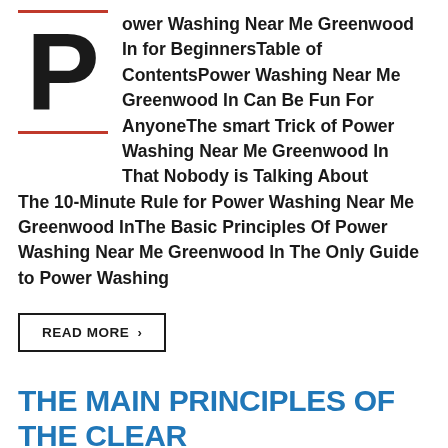ower Washing Near Me Greenwood In for BeginnersTable of ContentsPower Washing Near Me Greenwood In Can Be Fun For AnyoneThe smart Trick of Power Washing Near Me Greenwood In That Nobody is Talking AboutThe 10-Minute Rule for Power Washing Near Me Greenwood InThe Basic Principles Of Power Washing Near Me Greenwood In The Only Guide to Power Washing
READ MORE ›
THE MAIN PRINCIPLES OF THE CLEAR FACTOR